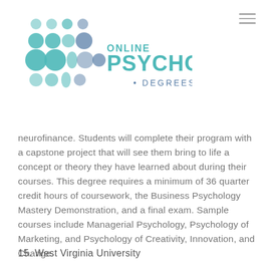[Figure (logo): Online Psychology Degrees logo with teal/blue circular dot pattern on left and text 'ONLINE PSYCHOLOGY • DEGREES •' on right]
neurofinance. Students will complete their program with a capstone project that will see them bring to life a concept or theory they have learned about during their courses. This degree requires a minimum of 36 quarter credit hours of coursework, the Business Psychology Mastery Demonstration, and a final exam. Sample courses include Managerial Psychology, Psychology of Marketing, and Psychology of Creativity, Innovation, and Change.
15. West Virginia University